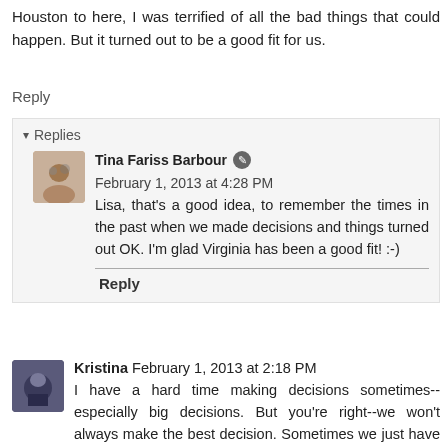Houston to here, I was terrified of all the bad things that could happen. But it turned out to be a good fit for us.
Reply
▾ Replies
Tina Fariss Barbour  February 1, 2013 at 4:28 PM
Lisa, that's a good idea, to remember the times in the past when we made decisions and things turned out OK. I'm glad Virginia has been a good fit! :-)
Reply
Kristina  February 1, 2013 at 2:18 PM
I have a hard time making decisions sometimes--especially big decisions. But you're right--we won't always make the best decision. Sometimes we just have to make a decision.